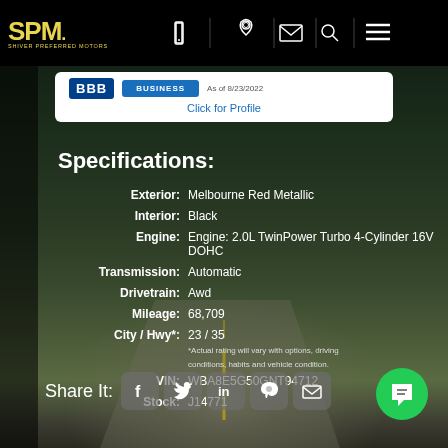SPM Shiver Preferred Motors - navigation bar with phone, location, email, search, menu icons
[Figure (logo): SPM Shiver Preferred Motors logo in yellow on black background]
BBB BUSINESS - As of 8/23/2022 - Click for Profile
Specifications:
Exterior: Melbourne Red Metallic
Interior: Black
Engine: Engine: 2.0L TwinPower Turbo 4-Cylinder 16V DOHC
Transmission: Automatic
Drivetrain: Awd
Mileage: 68,709
City / Hwy*: 23 / 35 *Actual rating will vary with options, driving conditions, habits and vehicle condition.
VIN: WBA8E5G50GNT94712
Stock: J14771
Share It: